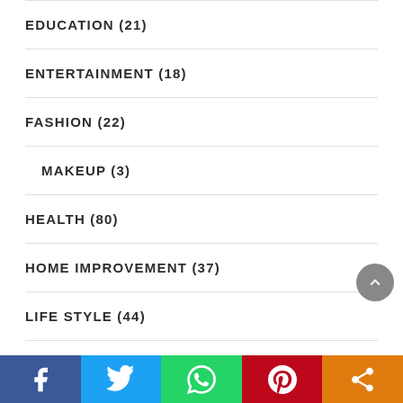EDUCATION (21)
ENTERTAINMENT (18)
FASHION (22)
MAKEUP (3)
HEALTH (80)
HOME IMPROVEMENT (37)
LIFE STYLE (44)
BABY CARE (3)
Facebook Twitter WhatsApp Pinterest Share